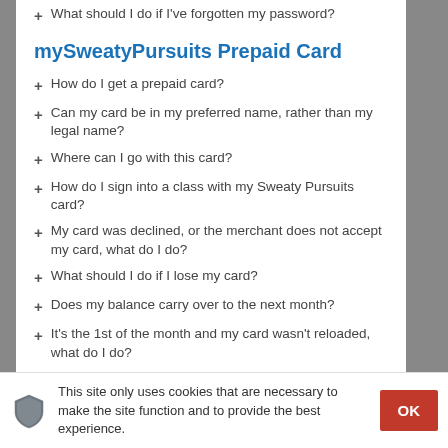What should I do if I've forgotten my password?
mySweatyPursuits Prepaid Card
How do I get a prepaid card?
Can my card be in my preferred name, rather than my legal name?
Where can I go with this card?
How do I sign into a class with my Sweaty Pursuits card?
My card was declined, or the merchant does not accept my card, what do I do?
What should I do if I lose my card?
Does my balance carry over to the next month?
It's the 1st of the month and my card wasn't reloaded, what do I do?
Can I use this card when I travel?
What is mobile wallet tokenization?
This site only uses cookies that are necessary to make the site function and to provide the best experience.